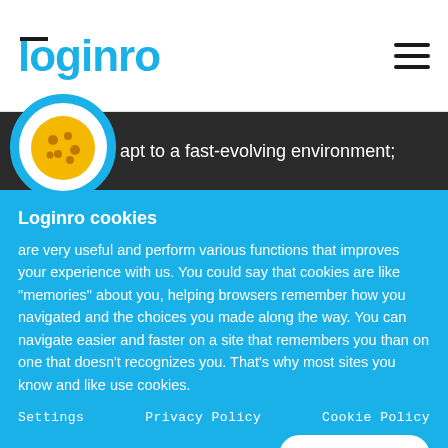loginro
apt to a fast-evolving environment;
Loginro cookies
are very useful and perform various functions that improves your experience with us. You could say that cookies are like "memories" about you, helping browsers remember how you navigated and the choices you made along the way. You can navigate easier and faster on a site that remembers you than on one that doesn't recognizes you. That's why most sites you know and like use cookies.
Settings   Privacy Policy   Cookie Policy
Accept all